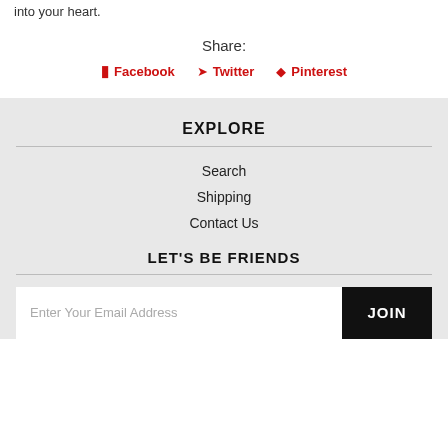into your heart.
Share:
Facebook  Twitter  Pinterest
EXPLORE
Search
Shipping
Contact Us
LET'S BE FRIENDS
Enter Your Email Address  JOIN